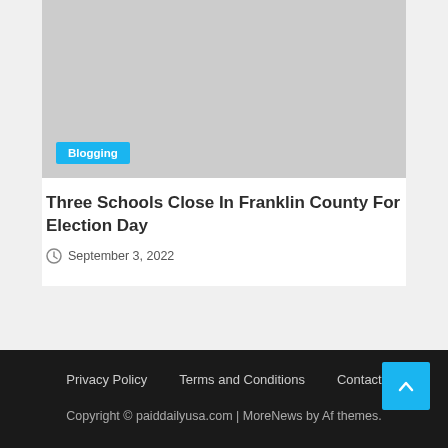[Figure (photo): Gray placeholder image for article thumbnail with a blue 'Blogging' category badge in the lower left corner]
Three Schools Close In Franklin County For Election Day
September 3, 2022
Privacy Policy   Terms and Conditions   Contact
Copyright © paiddailyusa.com | MoreNews by Af themes.